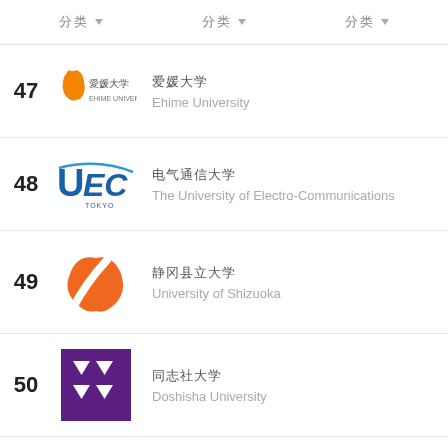分类   分类   分类
47 愛媛大学 / Ehime University
48 電気通信大学 / The University of Electro-Communications
49 静岡県立大学 / University of Shizuoka
50 同志社大学 / Doshisha University
51 xxxxxx